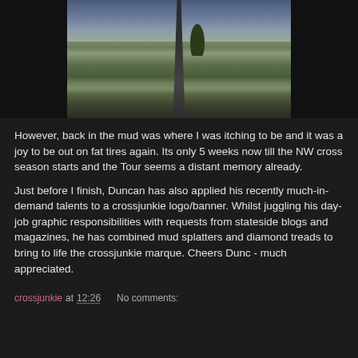[Figure (photo): A country road flanked by tall grass/wheat fields on the right and open farmland on the left, with a tree in the middle distance and cloudy sky above.]
However, back in the mud was where I was itching to be and it was a joy to be out on fat tires again. Its only 5 weeks now till the NW cross season starts and the Tour seems a distant memory already.
Just before I finish, Duncan has also applied his recently much-in-demand talents to a crossjunkie logo/banner. Whilst juggling his day-job graphic responsibilities with requests from stateside blogs and magazines, he has combined mud splatters and diamond treads to bring to life the crossjunkie marque. Cheers Dunc - much appreciated.
crossjunkie at 12:26    No comments: